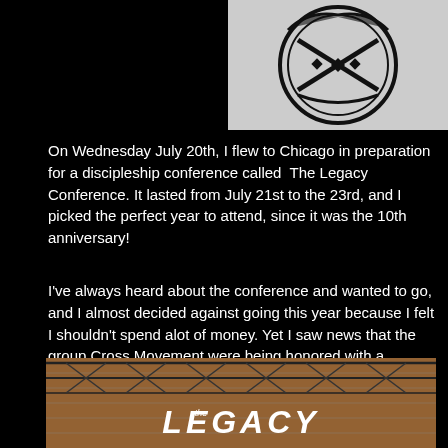[Figure (logo): Black and white circular emblem/logo with crossed elements and laurel wreath, partial view at top right]
On Wednesday July 20th, I flew to Chicago in preparation for a discipleship conference called  The Legacy Conference. It lasted from July 21st to the 23rd, and I picked the perfect year to attend, since it was the 10th anniversary!
I've always heard about the conference and wanted to go, and I almost decided against going this year because I felt I shouldn't spend alot of money. Yet I saw news that the group Cross Movement were being honored with a Lifetime Achievement award for their ministry, so I really had to go knowing how blessed I've been by their music. To top it off, they also had a reunion concert that brought back incredible memories!
[Figure (photo): Photo of a brick building with scaffolding/truss structure in front, with large white letters spelling LEGACY]